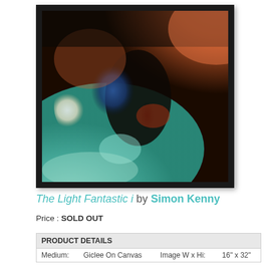[Figure (illustration): Abstract painting titled 'The Light Fantastic i' by Simon Kenny, showing swirling colors of teal/turquoise at the bottom, orange and red at the top, and deep blue in the center, displayed in a black frame on canvas.]
The Light Fantastic i by Simon Kenny
Price : SOLD OUT
| PRODUCT DETAILS |
| --- |
| Medium: | Giclee On Canvas | Image W x Hi: | 16" x 32" |